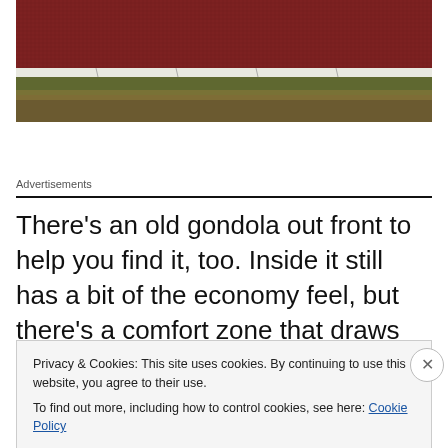[Figure (photo): Partial view of a red running track surface with a white curb and green grass/dirt edge below]
Advertisements
There’s an old gondola out front to help you find it, too. Inside it still has a bit of the economy feel, but there’s a comfort zone that draws you in. The smells that fill the
Privacy & Cookies: This site uses cookies. By continuing to use this website, you agree to their use.
To find out more, including how to control cookies, see here: Cookie Policy
Close and accept